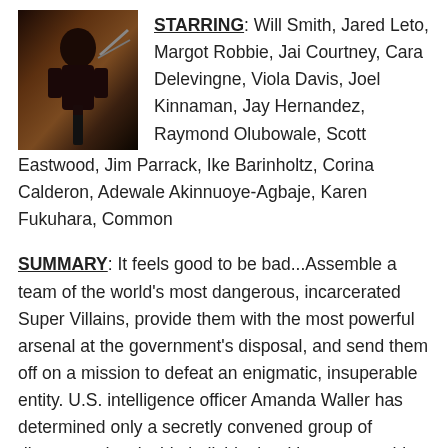[Figure (photo): A dark-toned movie promotional photo showing a costumed character with weapons]
STARRING: Will Smith, Jared Leto, Margot Robbie, Jai Courtney, Cara Delevingne, Viola Davis, Joel Kinnaman, Jay Hernandez, Raymond Olubowale, Scott Eastwood, Jim Parrack, Ike Barinholtz, Corina Calderon, Adewale Akinnuoye-Agbaje, Karen Fukuhara, Common
SUMMARY: It feels good to be bad...Assemble a team of the world's most dangerous, incarcerated Super Villains, provide them with the most powerful arsenal at the government's disposal, and send them off on a mission to defeat an enigmatic, insuperable entity. U.S. intelligence officer Amanda Waller has determined only a secretly convened group of disparate, despicable individuals with next to nothing to lose will do. However, once they realize they weren't picked to succeed but chosen for their patent culpability when they inevitably fail, will the Suicide Squad